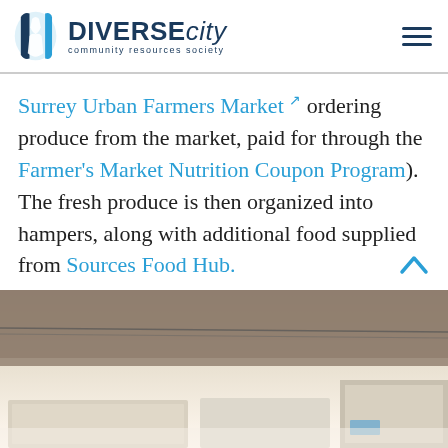DiverseCity community resources society
Surrey Urban Farmers Market ordering produce from the market, paid for through the Farmer's Market Nutrition Coupon Program). The fresh produce is then organized into hampers, along with additional food supplied from Sources Food Hub.
[Figure (photo): Interior photograph showing the underside of shelving or industrial ceiling structure with lighting visible below, in a sepia/desaturated tone]